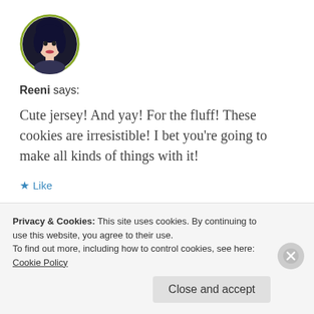[Figure (photo): Circular avatar photo of a person with dark hair, framed by a green/olive border circle.]
Reeni says:
Cute jersey! And yay! For the fluff! These cookies are irresistible! I bet you're going to make all kinds of things with it!
★ Like
May 6, 2013 at 12:24 am
↵ REPLY
Privacy & Cookies: This site uses cookies. By continuing to use this website, you agree to their use.
To find out more, including how to control cookies, see here:
Cookie Policy
Close and accept